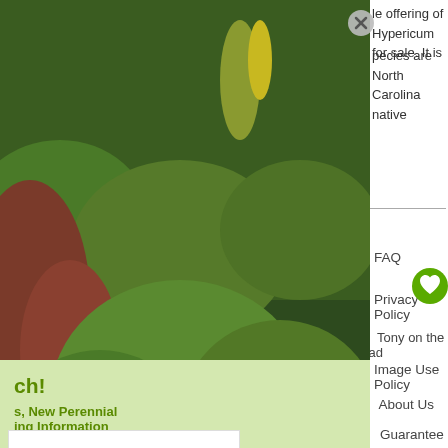le offering of Hypericum for sale. It is
pecies are North Carolina native
[Figure (photo): Garden photo showing lush green plants, shrubs, hostas with yellow-green leaves, and red-leafed plants with yellow flowering plants in the background. A close button (X) appears in the upper right corner of the photo overlay.]
ch!
s, New Perennial
ing Information
FAQ
Privacy Policy
og    Tony on the Road
Image Use Policy
s    About Us
a    Guarantee